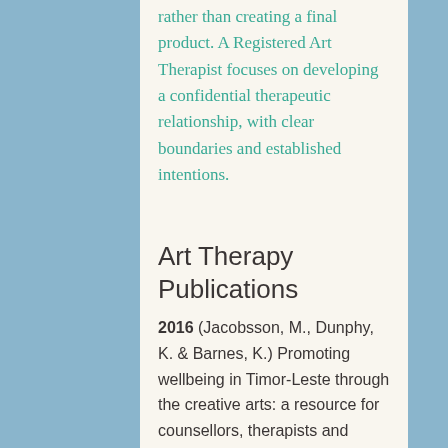rather than creating a final product. A Registered Art Therapist focuses on developing a confidential therapeutic relationship, with clear boundaries and established intentions.
Art Therapy Publications
2016 (Jacobsson, M., Dunphy, K. & Barnes, K.) Promoting wellbeing in Timor-Leste through the creative arts: a resource for counsellors, therapists and facilitators